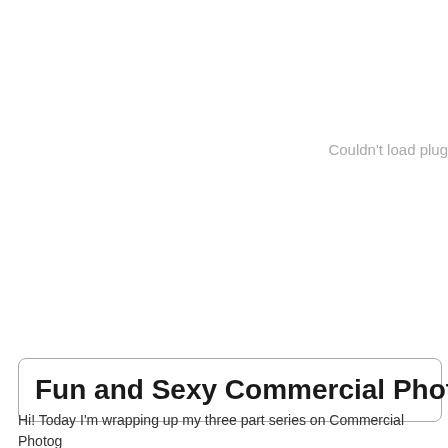[Figure (other): Embedded plugin/video area that failed to load, showing 'Couldn't load plug' error message in gray text on white background]
Fun and Sexy Commercial Photography – Ta
Hi! Today I'm wrapping up my three part series on Commercial Photog here and Part 2 here. The video for VIP's is down below, where I talk a